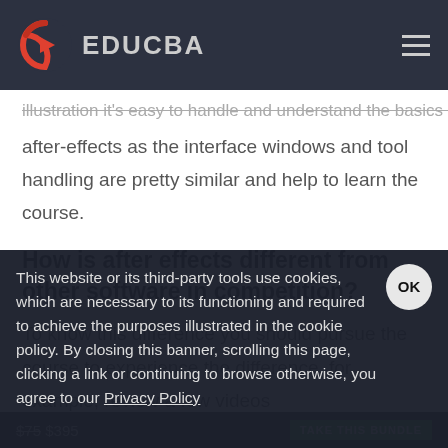EDUCBA
illustration it's easy to handle and understand the basics of after-effects as the interface windows and tool handling are pretty similar and help to learn the course.
How is after effects different from other software in competition?
To know this difference you should pursue the course to experience the difference, for example, review a few videos which are available before and after After effects making
This website or its third-party tools use cookies, which are necessary to its functioning and required to achieve the purposes illustrated in the cookie policy. By closing this banner, scrolling this page, clicking a link or continuing to browse otherwise, you agree to our Privacy Policy